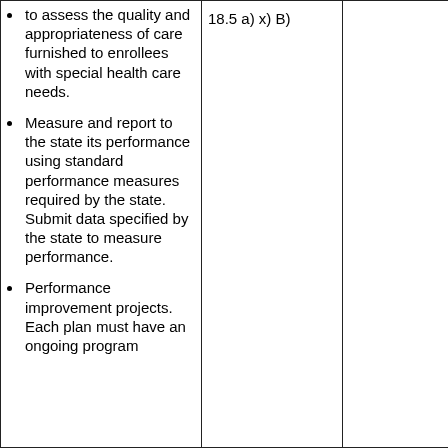| to assess the quality and appropriateness of care furnished to enrollees with special health care needs.
• Measure and report to the state its performance using standard performance measures required by the state. Submit data specified by the state to measure performance.
• Performance improvement projects. Each plan must have an ongoing program | 18.5 a) x) B) |  |